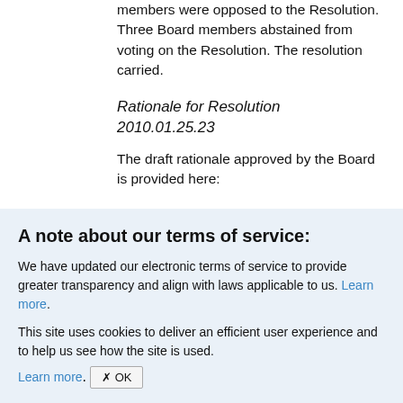members were opposed to the Resolution. Three Board members abstained from voting on the Resolution. The resolution carried.
Rationale for Resolution 2010.01.25.23
The draft rationale approved by the Board is provided here:
http://... (link partially visible)
A note about our terms of service:
We have updated our electronic terms of service to provide greater transparency and align with laws applicable to us. Learn more.
This site uses cookies to deliver an efficient user experience and to help us see how the site is used. Learn more. OK